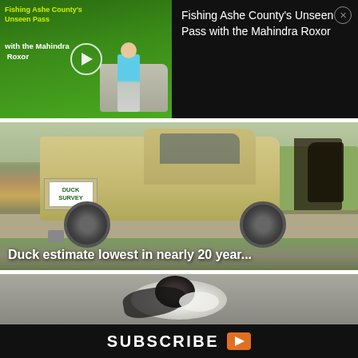[Figure (screenshot): Video thumbnail showing a person holding a fish standing next to a Mahindra Roxor vehicle on grass, with overlaid title text 'Fishing Ashe County's Unseen Pass with the Mahindra Roxor' and a play button]
Fishing Ashe County's Unseen Pass with the Mahindra Roxor
[Figure (screenshot): Photograph of rear of a pickup truck with 'DUCK SURVEY' on the license plate area, parked on a driveway with grass in background]
Duck estimate lowest in nearly 20 year...
[Figure (photo): Aerial or close-up photograph of a duck/bird with black and white plumage against a grey background]
SUBSCRIBE